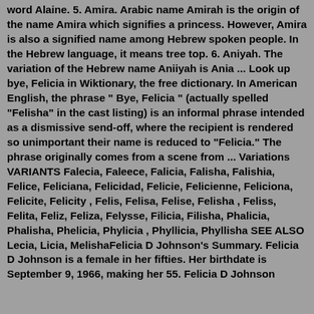word Alaine. 5. Amira. Arabic name Amirah is the origin of the name Amira which signifies a princess. However, Amira is also a signified name among Hebrew spoken people. In the Hebrew language, it means tree top. 6. Aniyah. The variation of the Hebrew name Aniiyah is Ania ... Look up bye, Felicia in Wiktionary, the free dictionary. In American English, the phrase " Bye, Felicia " (actually spelled "Felisha" in the cast listing) is an informal phrase intended as a dismissive send-off, where the recipient is rendered so unimportant their name is reduced to "Felicia." The phrase originally comes from a scene from ... Variations VARIANTS Falecia, Faleece, Falicia, Falisha, Falishia, Felice, Feliciana, Felicidad, Felicie, Felicienne, Feliciona, Felicite, Felicity , Felis, Felisa, Felise, Felisha , Feliss, Felita, Feliz, Feliza, Felysse, Filicia, Filisha, Phalicia, Phalisha, Phelicia, Phylicia , Phyllicia, Phyllisha SEE ALSO Lecia, Licia, MelishaFelicia D Johnson's Summary. Felicia D Johnson is a female in her fifties. Her birthdate is September 9, 1966, making her 55. Felicia D Johnson